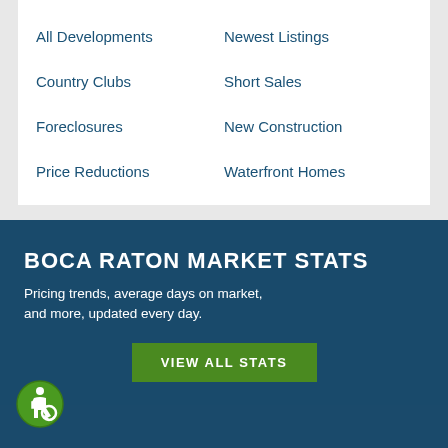All Developments
Newest Listings
Country Clubs
Short Sales
Foreclosures
New Construction
Price Reductions
Waterfront Homes
BOCA RATON MARKET STATS
Pricing trends, average days on market, and more, updated every day.
VIEW ALL STATS
[Figure (other): Accessibility icon - green circular badge with wheelchair symbol]